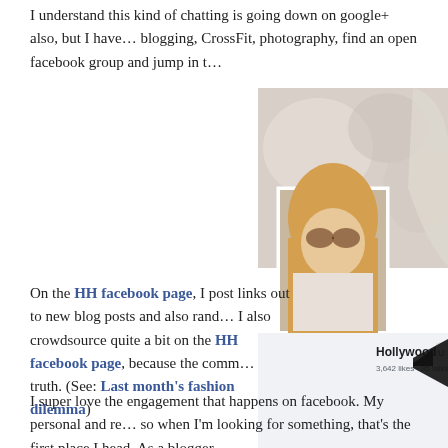I understand this kind of chatting is going down on google+ also, but I have... blogging, CrossFit, photography, find an open facebook group and jump in t...
[Figure (screenshot): Screenshot of the Hollywood Housewife Facebook page showing profile photo of a blonde woman with sunglasses, cover photo with blurred background, page name 'Hollywood Housewife', 3,642 likes · 85 talking about this, description 'Personal Blog - small town oklahoma girl turned Hollywood Housewife', website http://www.hollywoodhousewife.com/, About link, and a large black arrow pointing to the page.]
On the HH facebook page, I post links out to new blog posts and also rand... I also crowdsource quite a bit on the HH facebook page, because the comm... truth. (See: Last month's fashion dilemma)
I super love the engagement that happens on facebook. My personal and re... so when I'm looking for something, that's the first place I head. As a blogger...